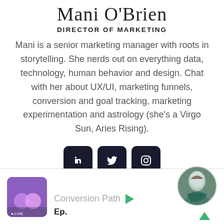Mani O'Brien
DIRECTOR OF MARKETING
Mani is a senior marketing manager with roots in storytelling. She nerds out on everything data, technology, human behavior and design. Chat with her about UX/UI, marketing funnels, conversion and goal tracking, marketing experimentation and astrology (she's a Virgo Sun, Aries Rising).
[Figure (other): Social media icons: LinkedIn, Twitter, Instagram]
[Figure (other): Bottom podcast bar with podcast thumbnail, Conversion Path label, play button, Ep. label, profile photo circle, up arrow]
Conversion Path
Ep.